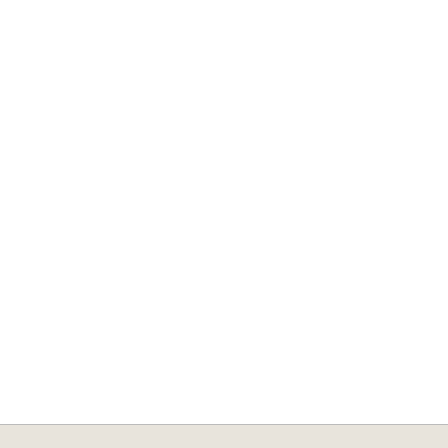Code listing showing legal provisions: 2 ab 1 unde, 13 ab (d) am, 13 ab (h) fi[, 15 ab 8 f(d), 25 ab 1-a f(, abt(vi), 25 ab 1-b f(, 54 ab 1 and, 69 ab 1 and, 78 and, 201 ab 5 opt, 201 ab 5 unde, 211 ab 1 and, 213 ab 5 ad
CHANGES IN UNCONSOL
« Anterior